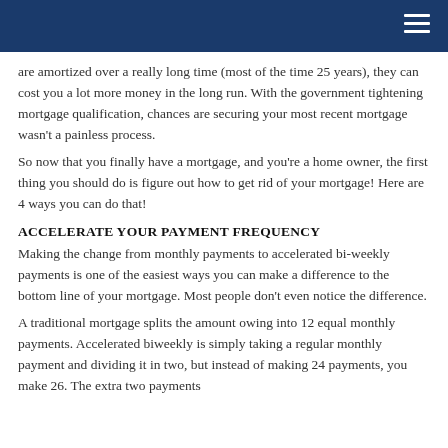are amortized over a really long time (most of the time 25 years), they can cost you a lot more money in the long run. With the government tightening mortgage qualification, chances are securing your most recent mortgage wasn't a painless process.
So now that you finally have a mortgage, and you're a home owner, the first thing you should do is figure out how to get rid of your mortgage! Here are 4 ways you can do that!
ACCELERATE YOUR PAYMENT FREQUENCY
Making the change from monthly payments to accelerated bi-weekly payments is one of the easiest ways you can make a difference to the bottom line of your mortgage. Most people don't even notice the difference.
A traditional mortgage splits the amount owing into 12 equal monthly payments. Accelerated biweekly is simply taking a regular monthly payment and dividing it in two, but instead of making 24 payments, you make 26. The extra two payments